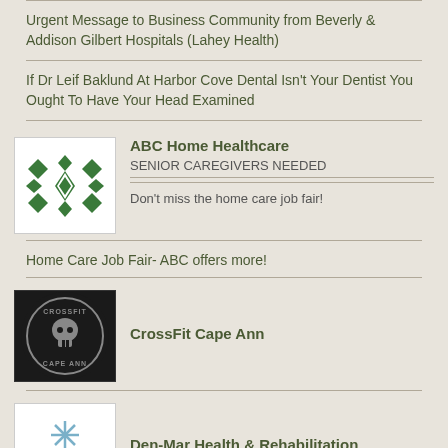Urgent Message to Business Community from Beverly & Addison Gilbert Hospitals (Lahey Health)
If Dr Leif Baklund At Harbor Cove Dental Isn't Your Dentist You Ought To Have Your Head Examined
ABC Home Healthcare
SENIOR CAREGIVERS NEEDED
Don't miss the home care job fair!
Home Care Job Fair- ABC offers more!
CrossFit Cape Ann
Den-Mar Health & Rehabilitation
Karen Pischke BSN, RN
Celebrating International Nurse's Day: Nominate your